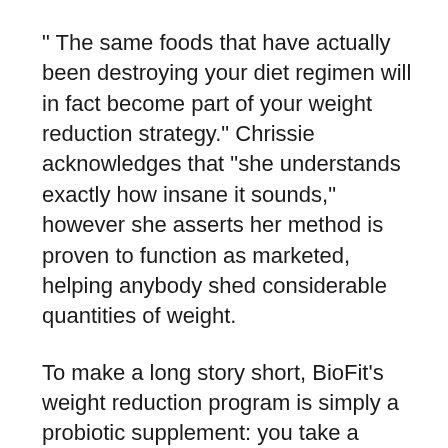“ The same foods that have actually been destroying your diet regimen will in fact become part of your weight reduction strategy.” Chrissie acknowledges that “she understands exactly how insane it sounds,” however she asserts her method is proven to function as marketed, helping anybody shed considerable quantities of weight.
To make a long story short, BioFit’s weight reduction program is simply a probiotic supplement: you take a probiotic supplement called BioFit when daily, after that shed a big quantity of weight with no weight loss whatsoever.